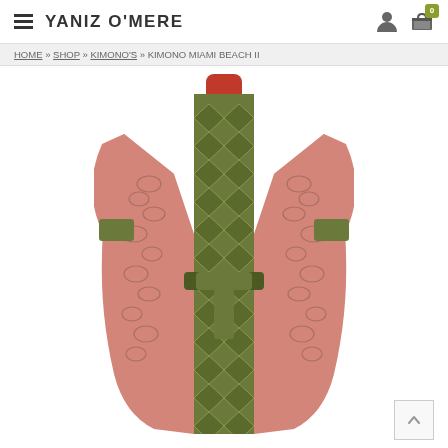YANIZ O'MERE — navigation header with hamburger menu, user icon, cart icon with badge 0
HOME » SHOP » KIMONO'S » KIMONO MIAMI BEACH II
[Figure (photo): A kimono displayed on a headless mannequin. The kimono is pink/salmon colored with a chain and floral print pattern. The inner lining and belt are a dark olive green geometric (diamond/lattice) pattern. The mannequin torso is red. The kimono is open-fronted with long sleeves and a tie belt.]